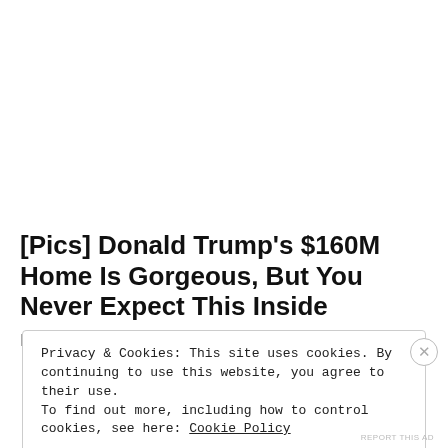[Pics] Donald Trump's $160M Home Is Gorgeous, But You Never Expect This Inside
BuzzAura
Privacy & Cookies: This site uses cookies. By continuing to use this website, you agree to their use.
To find out more, including how to control cookies, see here: Cookie Policy
Close and accept
REPORT THIS AD